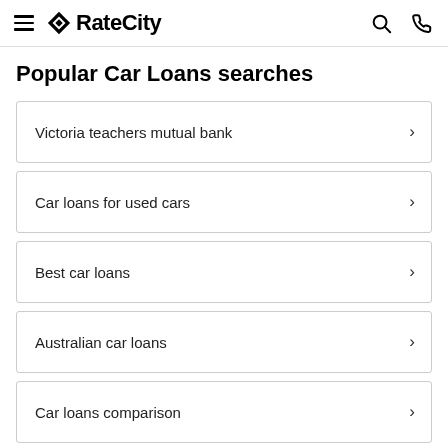RateCity
Popular Car Loans searches
Victoria teachers mutual bank
Car loans for used cars
Best car loans
Australian car loans
Car loans comparison